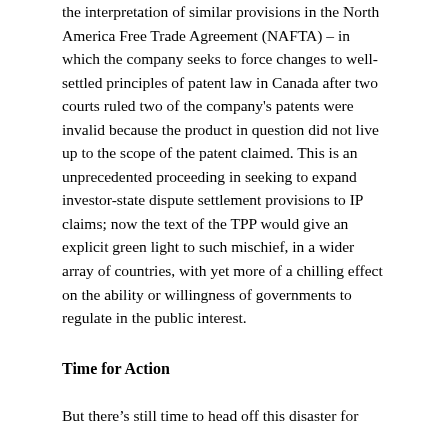the interpretation of similar provisions in the North America Free Trade Agreement (NAFTA) – in which the company seeks to force changes to well-settled principles of patent law in Canada after two courts ruled two of the company's patents were invalid because the product in question did not live up to the scope of the patent claimed. This is an unprecedented proceeding in seeking to expand investor-state dispute settlement provisions to IP claims; now the text of the TPP would give an explicit green light to such mischief, in a wider array of countries, with yet more of a chilling effect on the ability or willingness of governments to regulate in the public interest.
Time for Action
But there's still time to head off this disaster for